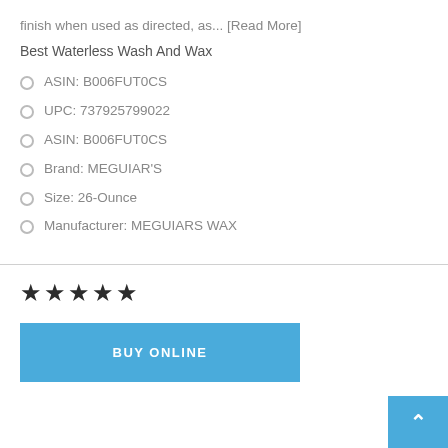finish when used as directed, as... [Read More]
Best Waterless Wash And Wax
ASIN: B006FUT0CS
UPC: 737925799022
ASIN: B006FUT0CS
Brand: MEGUIAR'S
Size: 26-Ounce
Manufacturer: MEGUIARS WAX
[Figure (other): Five star rating displayed as filled star icons]
[Figure (other): Blue BUY ONLINE button]